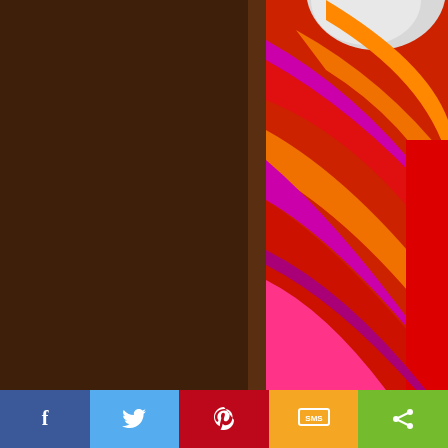[Figure (photo): Left side: dark brown textured background. Right side: colorful abstract swirling bands of red, orange, magenta/pink colors resembling a fairground ride or art installation, with a white circular shape at top. A 'Watch on YouTube' overlay bar appears at the bottom of the photo.]
[Figure (infographic): Social media sharing bar at the bottom with five buttons: Facebook (blue, f icon), Twitter (light blue, bird icon), Pinterest (red, P icon), SMS (yellow/orange, SMS icon), Share (green, share icon).]